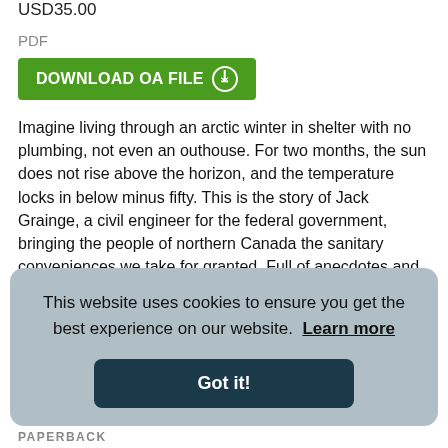USD35.00
PDF
DOWNLOAD OA FILE ⊙
Imagine living through an arctic winter in shelter with no plumbing, not even an outhouse. For two months, the sun does not rise above the horizon, and the temperature locks in below minus fifty. This is the story of Jack Grainge, a civil engineer for the federal government, bringing the people of northern Canada the sanitary conveniences we take for granted. Full of anecdotes and colour photographs, this book provides insight into everyday life in the rapidly-changing Nor... [READ MORE]
This website uses cookies to ensure you get the best experience on our website. Learn more
Got it!
PAPERBACK